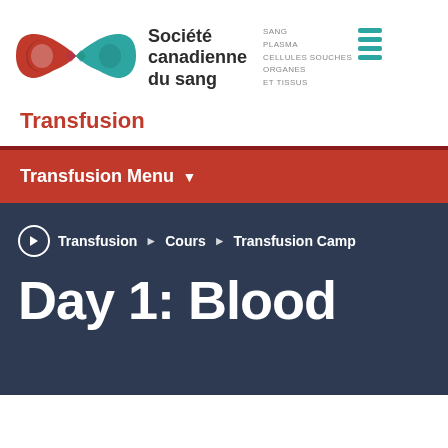[Figure (logo): Canadian Blood Services infinity loop logo in red and teal]
Société canadienne du sang
SANG PLASMA CELLULES SOUCHES ORGANES ET TISSUS
Transfusion
Transfusion Menu ▼
Transfusion ▶ Cours ▶ Transfusion Camp
Day 1: Blood